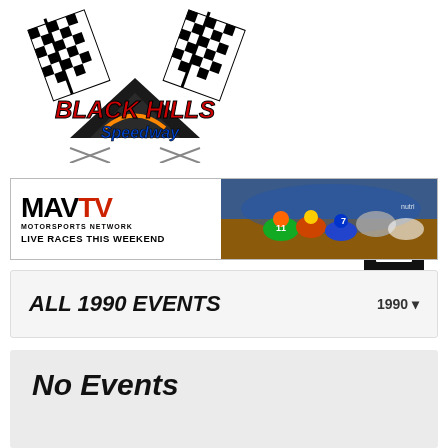[Figure (logo): Black Hills Speedway logo with checkered flags and mountain silhouette]
[Figure (other): Hamburger menu button (black square with three white horizontal lines)]
[Figure (other): MAVTV Motorsports Network banner - Live Races This Weekend - with racing photo on right side]
ALL 1990 EVENTS
1990 ▾
No Events